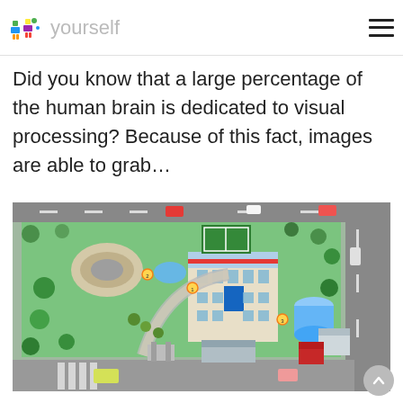yourself
Did you know that a large percentage of the human brain is dedicated to visual processing? Because of this fact, images are able to grab…
[Figure (illustration): Isometric illustration of a campus or city block with buildings, roads, trees, cars, and open green spaces viewed from an aerial perspective.]